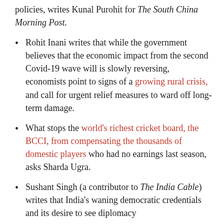policies, writes Kunal Purohit for The South China Morning Post.
Rohit Inani writes that while the government believes that the economic impact from the second Covid-19 wave will is slowly reversing, economists point to signs of a growing rural crisis, and call for urgent relief measures to ward off long-term damage.
What stops the world's richest cricket board, the BCCI, from compensating the thousands of domestic players who had no earnings last season, asks Sharda Ugra.
Sushant Singh (a contributor to The India Cable) writes that India's waning democratic credentials and its desire to see diplomacy